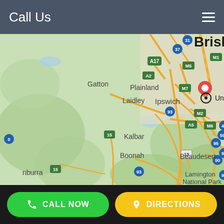Call Us
[Figure (map): Google Maps screenshot showing Brisbane and surrounding Queensland region including Underwood marker, Ipswich, Laidley, Gatton, Plainland, Kalbar, Boonah, Beaudesert, and Lamington National Park with road network]
CALL NOW
DIRECTIONS